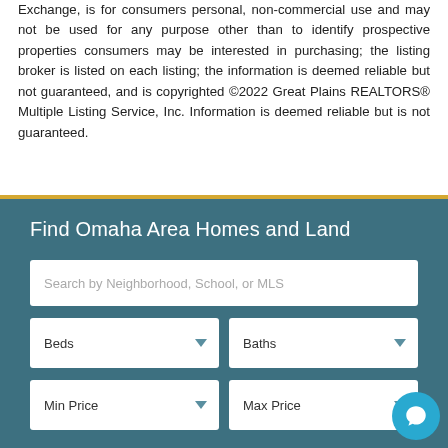Exchange, is for consumers personal, non-commercial use and may not be used for any purpose other than to identify prospective properties consumers may be interested in purchasing; the listing broker is listed on each listing; the information is deemed reliable but not guaranteed, and is copyrighted ©2022 Great Plains REALTORS® Multiple Listing Service, Inc. Information is deemed reliable but is not guaranteed.
Find Omaha Area Homes and Land
[Figure (screenshot): Search form with fields: Search by Neighborhood, School, or MLS; Beds dropdown; Baths dropdown; Min Price dropdown; Max Price dropdown]